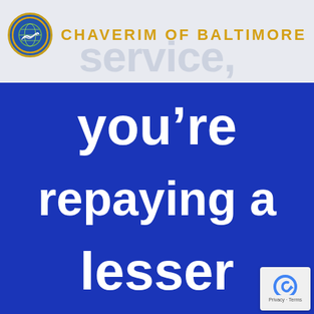[Figure (logo): Chaverim of Baltimore logo: circular emblem with a globe and handshake icon, gold/blue border]
CHAVERIM OF BALTIMORE
service,
you're repaying a lesser
[Figure (other): reCAPTCHA badge with Privacy and Terms links]